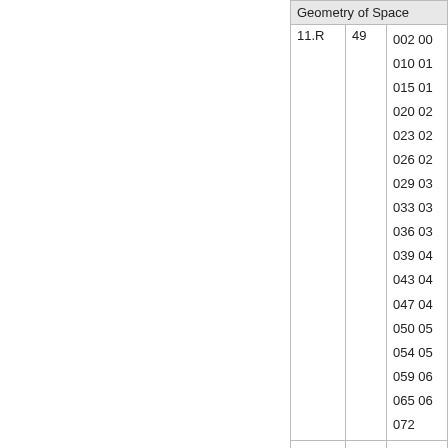|  |  | Geometry of Space |
| --- | --- | --- |
| 11.R | 49 | 002 00
010 01
015 01
020 02
023 02
026 02
029 03
033 03
036 03
039 04
043 04
047 04
050 05
054 05
059 06
065 06
072 |
|  |  |  |